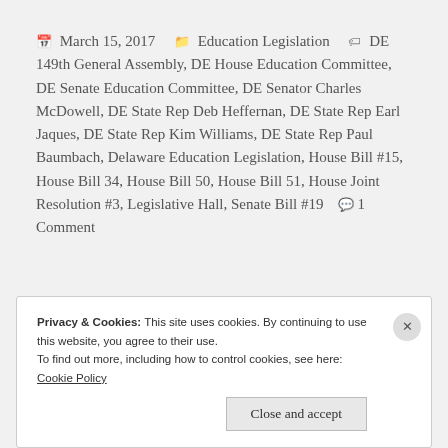📅 March 15, 2017  🗂 Education Legislation  🏷 DE 149th General Assembly, DE House Education Committee, DE Senate Education Committee, DE Senator Charles McDowell, DE State Rep Deb Heffernan, DE State Rep Earl Jaques, DE State Rep Kim Williams, DE State Rep Paul Baumbach, Delaware Education Legislation, House Bill #15, House Bill 34, House Bill 50, House Bill 51, House Joint Resolution #3, Legislative Hall, Senate Bill #19  💬 1 Comment
Privacy & Cookies: This site uses cookies. By continuing to use this website, you agree to their use. To find out more, including how to control cookies, see here: Cookie Policy
Close and accept